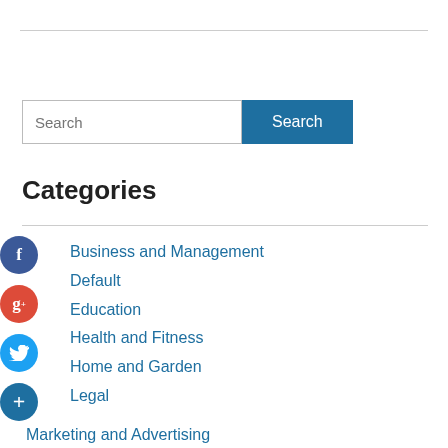[Figure (screenshot): Search bar with text input field showing placeholder 'Search' and a blue 'Search' button]
Categories
Business and Management
Default
Education
Health and Fitness
Home and Garden
Legal
Marketing and Advertising
My Blog